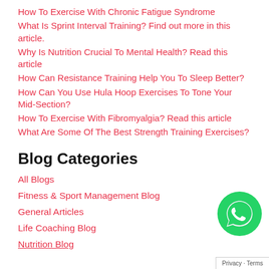How To Exercise With Chronic Fatigue Syndrome
What Is Sprint Interval Training? Find out more in this article.
Why Is Nutrition Crucial To Mental Health? Read this article
How Can Resistance Training Help You To Sleep Better?
How Can You Use Hula Hoop Exercises To Tone Your Mid-Section?
How To Exercise With Fibromyalgia? Read this article
What Are Some Of The Best Strength Training Exercises?
Blog Categories
All Blogs
Fitness & Sport Management Blog
General Articles
Life Coaching Blog
Nutrition Blog
[Figure (logo): WhatsApp green circle button icon]